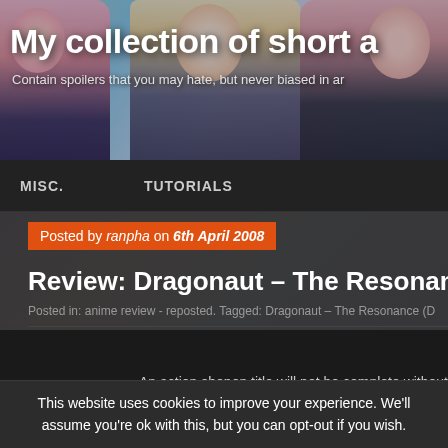[Figure (illustration): Anime-style blog header banner with multiple anime girl characters against a colorful background]
My collection of short a
Contain spoilers that you may hate, but never biased in ar
MISC.    TUTORIALS
[Figure (illustration): Partial anime character illustrations forming a dark banner background]
Posted by ranpha on 6th April 2008
Review: Dragonaut – The Resonan
Posted in: anime review - reposted. Tagged: Dragonaut – The Resonance (D
[Figure (illustration): Dark content area with partial anime artwork]
An action shonen title will not be complete without
This website uses cookies to improve your experience. We'll assume you're ok with this, but you can opt-out if you wish.